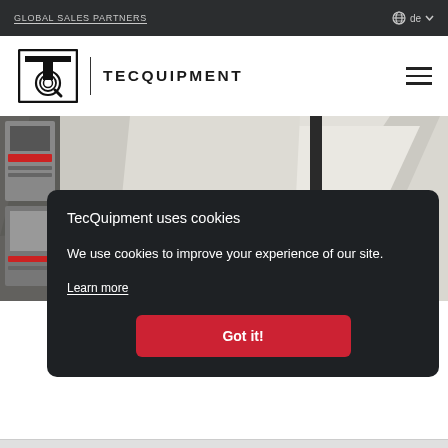GLOBAL SALES PARTNERS
[Figure (logo): TecQuipment logo with TQ monogram and wordmark TECQUIPMENT]
[Figure (photo): Partial photo of a TecQuipment engineering product, beige/grey background with geometric shapes]
TecQuipment uses cookies
We use cookies to improve your experience of our site.
Learn more
Got it!